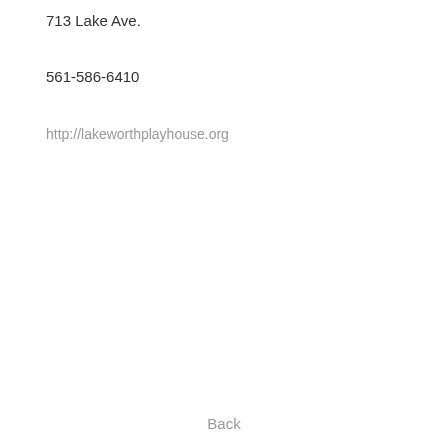713 Lake Ave.
561-586-6410
http://lakeworthplayhouse.org
Back